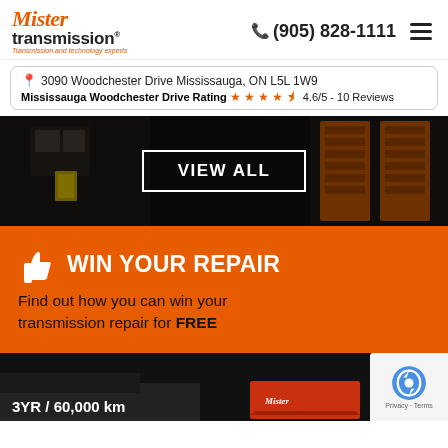Mister Transmission® | (905) 828-1111
3090 Woodchester Drive Mississauga, ON L5L 1W9
Mississauga Woodchester Drive Rating ★★★★½ 4.6/5 - 10 Reviews
[Figure (photo): Dark interior view of a transmission repair shop garage bays with orange doors, overlaid with a VIEW ALL button]
[Figure (infographic): Orange banner with thumbs up icon: WIN YOUR REPAIR - Find out how you can win your transmission repair for FREE]
[Figure (photo): Bottom strip showing a vehicle undercarriage and Mister Transmission logo with text 3YR / 60,000 km. reCAPTCHA badge visible in bottom right corner.]